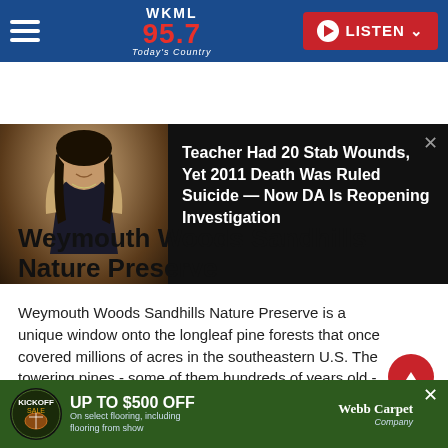WKML 95.7 Today's Country — LISTEN
[Figure (screenshot): News article banner with photo of dark-haired woman smiling and headline: Teacher Had 20 Stab Wounds, Yet 2011 Death Was Ruled Suicide — Now DA Is Reopening Investigation]
Weymouth Woods Sandhills Nature Preserve
Weymouth Woods Sandhills Nature Preserve is a unique window onto the longleaf pine forests that once covered millions of acres in the southeastern U.S. The towering pines - some of them hundreds of years old - tower over expanses of wiregrass and rare and intriguing species, including the red-cockaded woodpecker, pine barrens tree frog, bog spicebush, fox squirrel and myriad wildflowers.
Read this on ncparks.gov >
[Figure (photo): Advertisement banner: Kickoff Sale - UP TO $500 OFF On select flooring, including flooring from show - Webb Carpet Company]